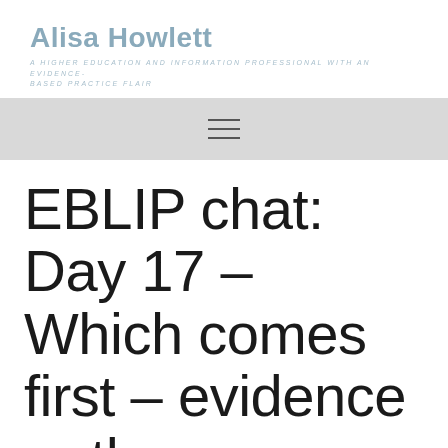Alisa Howlett
A HIGHER EDUCATION AND INFORMATION PROFESSIONAL WITH AN EVIDENCE-BASED PRACTICE FLAIR
[Figure (other): Navigation menu bar with hamburger icon (three horizontal lines) on grey background]
EBLIP chat: Day 17 – Which comes first – evidence or the question?